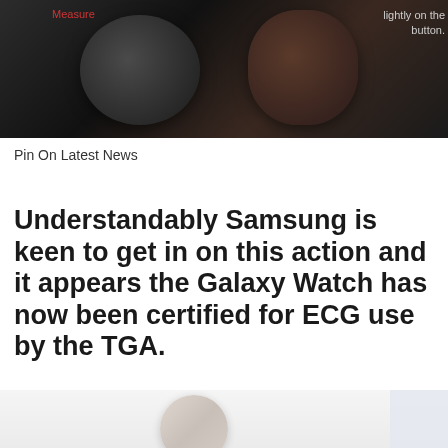[Figure (photo): Close-up photo of Samsung Galaxy Watch smartwatches on dark background with 'Measure' label in red and text 'lightly on the button.' visible]
Pin On Latest News
Understandably Samsung is keen to get in on this action and it appears the Galaxy Watch has now been certified for ECG use by the TGA.
[Figure (photo): Partial photo of Samsung Galaxy Watch on light background, showing the watch face from above with a hand visible]